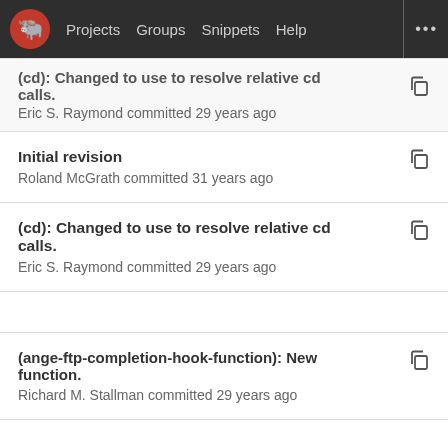Projects  Groups  Snippets  Help
(cd): Changed to use to resolve relative cd calls.
Eric S. Raymond committed 29 years ago
Initial revision
Roland McGrath committed 31 years ago
(cd): Changed to use to resolve relative cd calls.
Eric S. Raymond committed 29 years ago
(ange-ftp-completion-hook-function): New function.
Richard M. Stallman committed 29 years ago